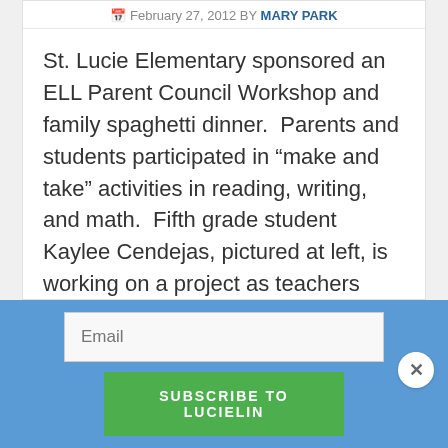February 27, 2012 BY MARY PARK
St. Lucie Elementary sponsored an ELL Parent Council Workshop and family spaghetti dinner.  Parents and students participated in “make and take” activities in reading, writing, and math.  Fifth grade student Kaylee Cendejas, pictured at left, is working on a project as teachers Leigh Bretherick and Theresa Brown, and Kaylee’s sister Stacy, watch her progress.